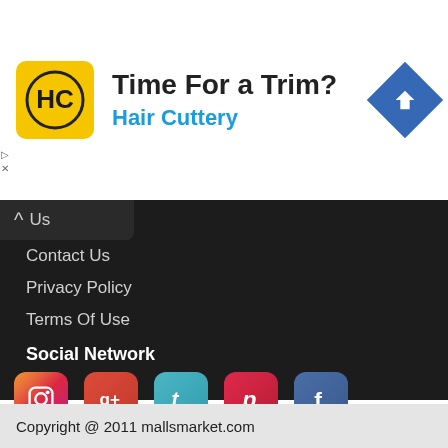[Figure (screenshot): Hair Cuttery advertisement banner with logo, 'Time For a Trim?' headline, 'Hair Cuttery' subtext in blue, and a blue navigation arrow icon]
Contact Us
Privacy Policy
Terms Of Use
Social Network
[Figure (screenshot): Social network icons: Instagram, Google+, Twitter, Pinterest, Facebook]
Partner Sites
[Figure (logo): inbrief.in Curated News logo]
Copyright @ 2011 mallsmarket.com